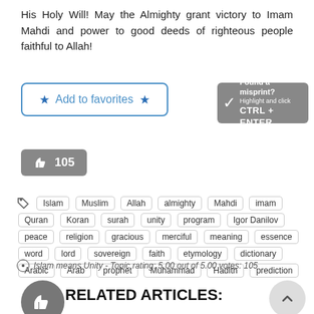His Holy Will! May the Almighty grant victory to Imam Mahdi and power to good deeds of righteous people faithful to Allah!
[Figure (other): Add to favorites button with blue star icons and blue border]
[Figure (other): Found a misprint? Highlight and click CTRL + ENTER button on gray background]
[Figure (other): Gray thumbs up like button with count 105]
Islam  Muslim  Allah  almighty  Mahdi  imam  Quran  Koran  surah  unity  program  Igor Danilov  peace  religion  gracious  merciful  meaning  essence  word  lord  sovereign  faith  etymology  dictionary  Arabic  Arab  prophet  Muhammad  Hadith  prediction
Islam means Unity - Topic rating: 5.00 out of 5.00 votes: 105
RELATED ARTICLES: